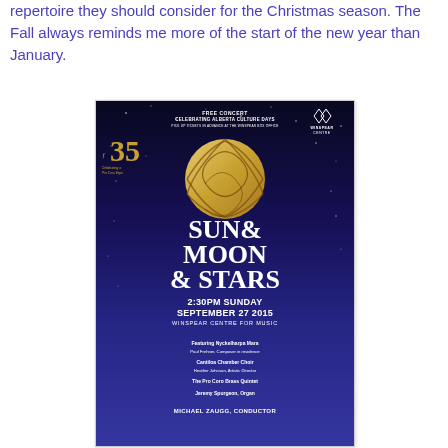repertoire they should consider for the Christmas season. The Fall always reminds me more of the start of the new year than January.
[Figure (illustration): Concert poster for 'Sun & Moon & Stars' free concert celebrating Alberta Culture Days at Winspear Centre for Music. Dark blue/purple starry night background. Features a gold decorative sphere/globe at top center. Text includes: FREE CONCERT CELEBRATING ALBERTA CULTURE DAYS, Winspear Centre logo top right, 35th anniversary logo top left. Main title: SUN& MOON & STARS. Date: 2:30PM SUNDAY SEPTEMBER 27 2015, WINSPEAR CENTRE FOR MUSIC. Performers: Featuring Nyckelharpa Mara, Paul Frehner Composer in residence, Cantiloa Chamber Choir, Heather Johnson Artistic Director, The Pro Coro Brass Quintet, Jeremy Spurgeon Organ. MICHAEL ZAUGG, CONDUCTOR.]